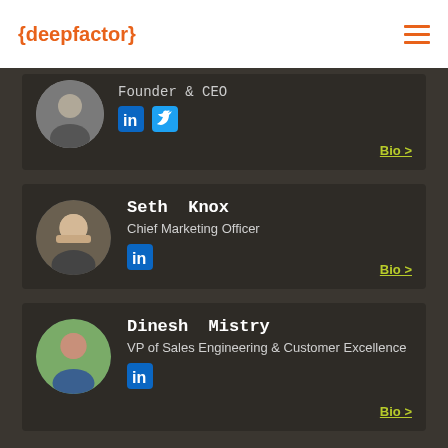{deepfactor}
[Figure (photo): Partially visible profile card at top: person with dark background, Founder & CEO title, LinkedIn and Twitter icons, Bio > link]
Seth Knox
Chief Marketing Officer
[Figure (photo): Seth Knox headshot: white man with beard, smiling]
Dinesh Mistry
VP of Sales Engineering & Customer Excellence
[Figure (photo): Dinesh Mistry headshot: man smiling, outdoors background]